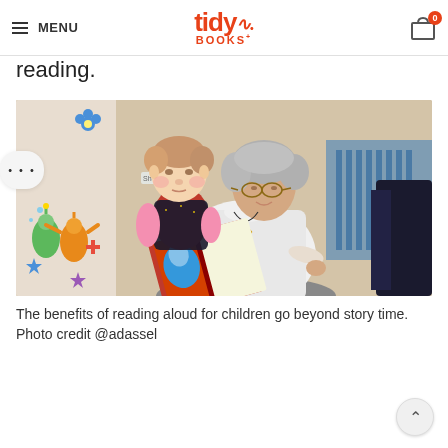MENU | tidy BOOKS | cart 0
reading.
[Figure (photo): An elderly woman with gray hair and glasses holding a young toddler on her lap, both looking at a colorful picture book. The background shows a wall with children's stickers (Teletubbies characters) and a blue radiator.]
The benefits of reading aloud for children go beyond story time. Photo credit @adassel
For older children who are stronger